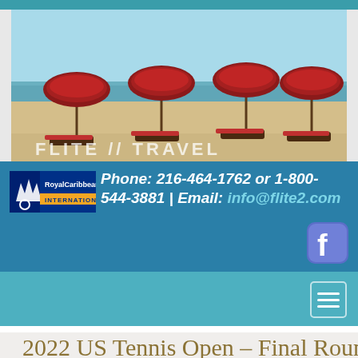[Figure (photo): Beach scene with four red/maroon umbrellas and lounge chairs on sandy beach with ocean in background. Text 'FLITE // TRAVEL' overlaid at bottom left of image.]
Phone: 216-464-1762 or 1-800-544-3881 | Email: info@flite2.com
[Figure (logo): Facebook logo icon - blue rounded square with white 'f']
[Figure (logo): Menu/hamburger icon - white rounded square outline with three horizontal lines]
2022 US Tennis Open – Final Rounds